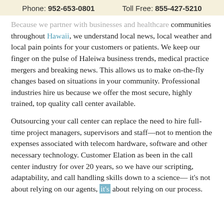Phone: 952-653-0801    Toll Free: 855-427-5210
Because we partner with businesses and healthcare communities throughout Hawaii, we understand local news, local weather and local pain points for your customers or patients. We keep our finger on the pulse of Haleiwa business trends, medical practice mergers and breaking news. This allows us to make on-the-fly changes based on situations in your community. Professional industries hire us because we offer the most secure, highly trained, top quality call center available.
Outsourcing your call center can replace the need to hire full-time project managers, supervisors and staff—not to mention the expenses associated with telecom hardware, software and other necessary technology. Customer Elation as been in the call center industry for over 20 years, so we have our scripting, adaptability, and call handling skills down to a science— it's not about relying on our agents, it's about relying on our process.